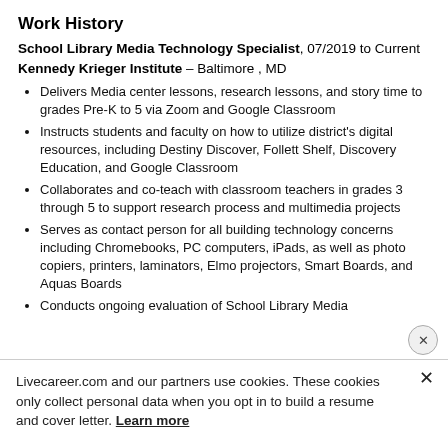Work History
School Library Media Technology Specialist, 07/2019 to Current
Kennedy Krieger Institute – Baltimore , MD
Delivers Media center lessons, research lessons, and story time to grades Pre-K to 5 via Zoom and Google Classroom
Instructs students and faculty on how to utilize district's digital resources, including Destiny Discover, Follett Shelf, Discovery Education, and Google Classroom
Collaborates and co-teach with classroom teachers in grades 3 through 5 to support research process and multimedia projects
Serves as contact person for all building technology concerns including Chromebooks, PC computers, iPads, as well as photo copiers, printers, laminators, Elmo projectors, Smart Boards, and Aquas Boards
Conducts ongoing evaluation of School Library Media
Livecareer.com and our partners use cookies. These cookies only collect personal data when you opt in to build a resume and cover letter. Learn more